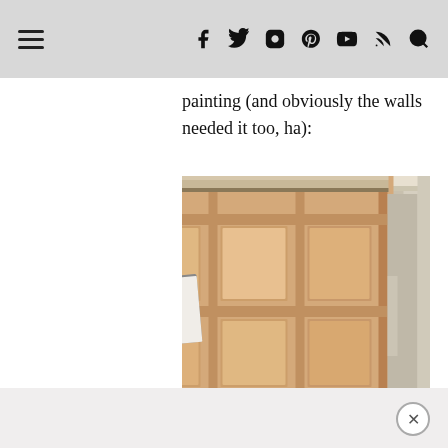navigation bar with hamburger menu and social icons: f (facebook), twitter, instagram, pinterest, youtube, rss, search
painting (and obviously the walls needed it too, ha):
[Figure (photo): Wooden sliding closet doors with panel detail, a green painter's tape strip and a paint color swatch attached to the leftmost door. The doors are unpainted natural wood, and the surrounding walls are cream/white. A crown molding detail is visible at the top right.]
bottom bar with close (x) button